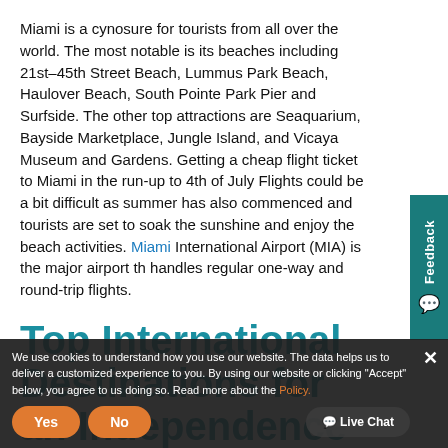Miami is a cynosure for tourists from all over the world. The most notable is its beaches including 21st–45th Street Beach, Lummus Park Beach, Haulover Beach, South Pointe Park Pier and Surfside. The other top attractions are Seaquarium, Bayside Marketplace, Jungle Island, and Vicaya Museum and Gardens. Getting a cheap flight ticket to Miami in the run-up to 4th of July Flights could be a bit difficult as summer has also commenced and tourists are set to soak the sunshine and enjoy the beach activities. Miami International Airport (MIA) is the major airport that handles regular one-way and round-trip flights.
Top International Destinations for an Independence Day Getaway
If you have been planning for an international va...
We use cookies to understand how you use our website. The data helps us to deliver a customized experience to you. By using our website or clicking "Accept" below, you agree to us doing so. Read more about the Policy.